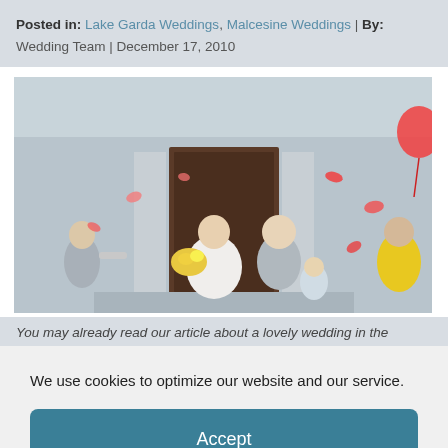Posted in: Lake Garda Weddings, Malcesine Weddings | By: Wedding Team | December 17, 2010
[Figure (photo): Wedding photo showing a bride in white dress holding a yellow bouquet and a groom in grey suit exiting a building with columns, joined by a young child and guests, rose petals being thrown in the air.]
You may already read our article about a lovely wedding in the
We use cookies to optimize our website and our service.
Accept
Cookie Policy   Privacy Statement   Imprint